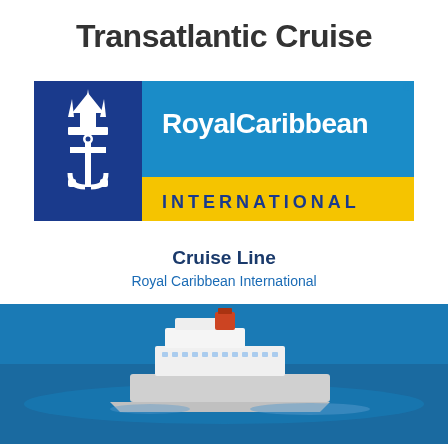Transatlantic Cruise
[Figure (logo): Royal Caribbean International logo: dark blue square with white anchor/crown emblem on left; blue rectangle with white 'RoyalCaribbean' text; yellow bar with dark blue 'INTERNATIONAL' text; small registered trademark symbol top right]
Cruise Line
Royal Caribbean International
[Figure (photo): Aerial photograph of a Royal Caribbean cruise ship sailing on blue ocean water, viewed from above at an angle]